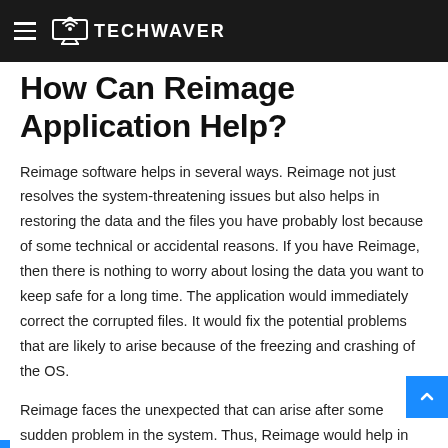TECHWAVER
How Can Reimage Application Help?
Reimage software helps in several ways. Reimage not just resolves the system-threatening issues but also helps in restoring the data and the files you have probably lost because of some technical or accidental reasons. If you have Reimage, then there is nothing to worry about losing the data you want to keep safe for a long time. The application would immediately correct the corrupted files. It would fix the potential problems that are likely to arise because of the freezing and crashing of the OS.
Reimage faces the unexpected that can arise after some sudden problem in the system. Thus, Reimage would help in